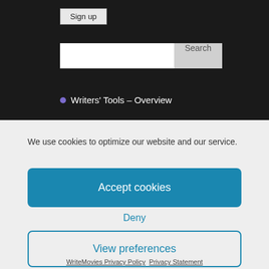Sign up
[Figure (screenshot): Search bar with text input and Search button]
Writers' Tools – Overview
We use cookies to optimize our website and our service.
Accept cookies
Deny
View preferences
WriteMovies Privacy Policy   Privacy Statement